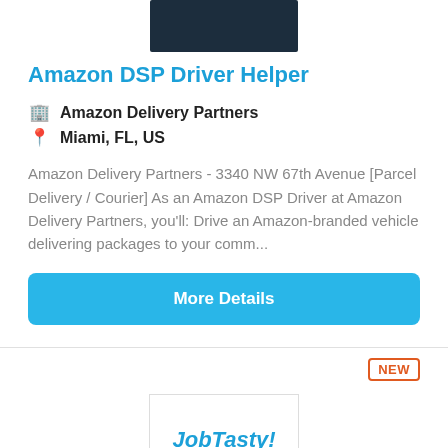[Figure (logo): Dark navy/blue-black rectangular logo placeholder at top center]
Amazon DSP Driver Helper
🏢 Amazon Delivery Partners
📍 Miami, FL, US
Amazon Delivery Partners - 3340 NW 67th Avenue [Parcel Delivery / Courier] As an Amazon DSP Driver at Amazon Delivery Partners, you'll: Drive an Amazon-branded vehicle delivering packages to your comm...
More Details
NEW
[Figure (logo): JobTasty! logo in italic bold blue text inside a bordered box]